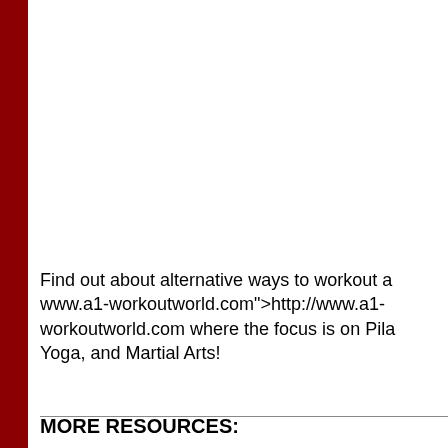Find out about alternative ways to workout at www.a1-workoutworld.com">http://www.a1-workoutworld.com where the focus is on Pilates, Yoga, and Martial Arts!
MORE RESOURCES: